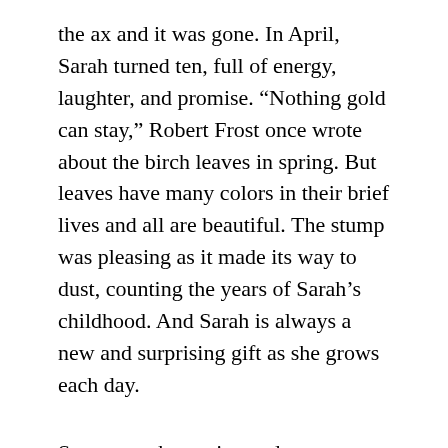the ax and it was gone. In April, Sarah turned ten, full of energy, laughter, and promise. “Nothing gold can stay,” Robert Frost once wrote about the birch leaves in spring. But leaves have many colors in their brief lives and all are beautiful. The stump was pleasing as it made its way to dust, counting the years of Sarah’s childhood. And Sarah is always a new and surprising gift as she grows each day.
Some say change is good, some say not. But since there is no choice about it I choose to embrace change. If I resist, I will miss the new opportunities it offers and drain myself fighting it. Though accepting it is sometimes